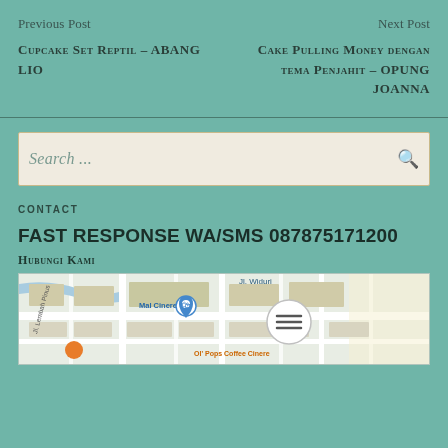Previous Post
Cupcake Set Reptil – ABANG LIO
Next Post
Cake Pulling Money dengan tema Penjahit – OPUNG JOANNA
Search ...
CONTACT
FAST RESPONSE WA/SMS 087875171200
Hubungi Kami
[Figure (map): Google Maps screenshot showing area around Mal Cinere and Ol' Pops Coffee Cinere, with street labels Jl. Widuri and Jl. Lembah Pinus]